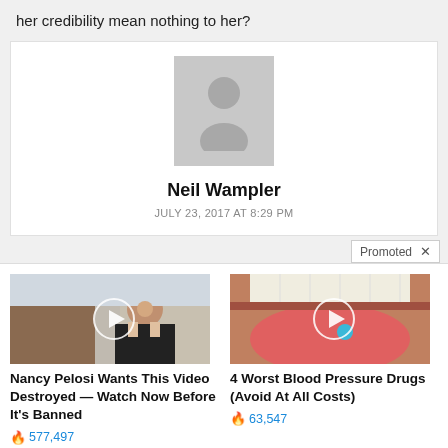her credibility mean nothing to her?
Neil Wampler
JULY 23, 2017 AT 8:29 PM
Promoted X
[Figure (screenshot): Video thumbnail showing a woman smiling outdoors with a play button overlay]
Nancy Pelosi Wants This Video Destroyed — Watch Now Before It's Banned
577,497
[Figure (screenshot): Video thumbnail showing a close-up of a mouth with a pill on tongue with a play button overlay]
4 Worst Blood Pressure Drugs (Avoid At All Costs)
63,547